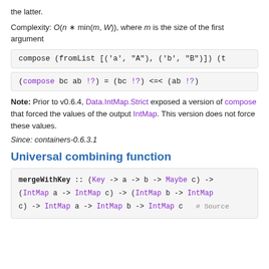the latter.
Complexity: O(n * min(m, W)), where m is the size of the first argument
[Figure (screenshot): Code block: compose (fromList [('a', "A"), ('b', "B")]) (t]
[Figure (screenshot): Code block: (compose bc ab !?) = (bc !?) <=< (ab !?)]
Note: Prior to v0.6.4, Data.IntMap.Strict exposed a version of compose that forced the values of the output IntMap. This version does not force these values.
Since: containers-0.6.3.1
Universal combining function
[Figure (screenshot): Code block: mergeWithKey :: (Key -> a -> b -> Maybe c) -> (IntMap a -> IntMap c) -> (IntMap b -> IntMap c) -> IntMap a -> IntMap b -> IntMap c   # Source]